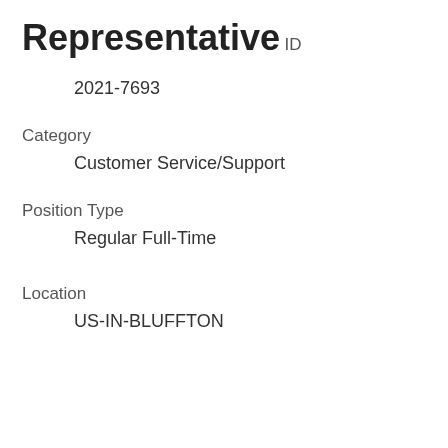Representative
ID
2021-7693
Category
Customer Service/Support
Position Type
Regular Full-Time
Location
US-IN-BLUFFTON